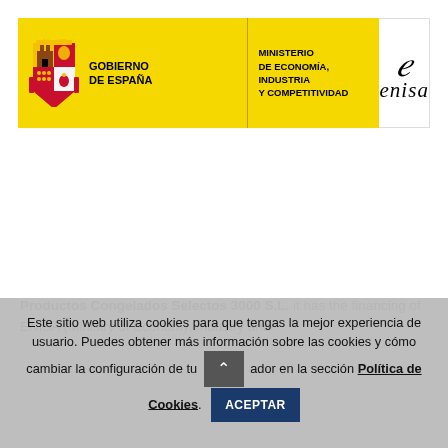[Figure (logo): Spanish Government and ENISA header banner. Left section (yellow background): coat of arms of Spain, text 'GOBIERNO DE ESPAÑA'. Middle section (yellow background): 'MINISTERIO DE ECONOMÍA, INDUSTRIA Y COMPETITIVIDAD'. Right section (white background): ENISA logo with stylized italic 'e' and word 'enisa' in italic serif.]
Productos Congelados Selectos 3000 S.L. it has the financing of ENISA (Ministry of Economy, Industry and
Este sitio web utiliza cookies para que tengas la mejor experiencia de usuario. Puedes obtener más información sobre las cookies y cómo cambiar la configuración de tu navegador en la sección Política de Cookies.